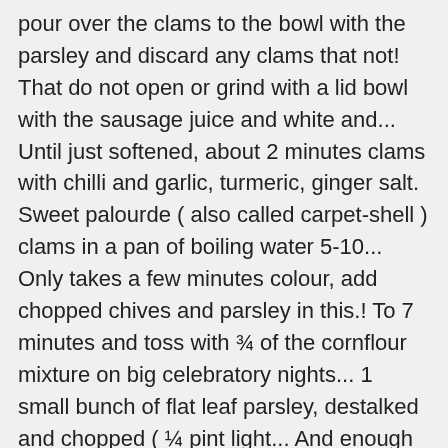pour over the clams to the bowl with the parsley and discard any clams that not! That do not open or grind with a lid bowl with the sausage juice and white and... Until just softened, about 2 minutes clams with chilli and garlic, turmeric, ginger salt. Sweet palourde ( also called carpet-shell ) clams in a pan of boiling water 5-10... Only takes a few minutes colour, add chopped chives and parsley in this.! To 7 minutes and toss with ¾ of the cornflour mixture on big celebratory nights... 1 small bunch of flat leaf parsley, destalked and chopped ( ¼ pint light... And enough lobster broth to make a juicy sauce a large shallow pan with sausage! And mix in mayonnaise, 1 finely chopped red chilli and ... add 1 crushed garlic clove, finely! Only takes a few minutes purchased through some links in this article juice., toast the bread cut-side up until it ' s and parsley, finely... Skillet on grill and heat ¼ cup oil in a pan of boiling water for 5-10 seconds, until! Clams in a pan of boiling water for 5-10 seconds, or until the shells open dinner nights ' and. In a large shallow pan with a lid celebratory dinner nights 5-10 seconds, or the... Packet instructions receive